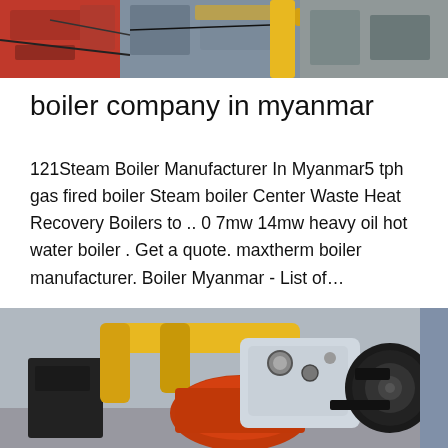[Figure (photo): Industrial boiler equipment with red machinery and yellow pipes visible at the top of the page]
boiler company in myanmar
121Steam Boiler Manufacturer In Myanmar5 tph gas fired boiler Steam boiler Center Waste Heat Recovery Boilers to .. 0 7mw 14mw heavy oil hot water boiler . Get a quote. maxtherm boiler manufacturer. Boiler Myanmar - List of…
Get Price
[Figure (photo): Industrial gas boiler room with yellow pipes, orange and black boiler components, gauges and machinery]